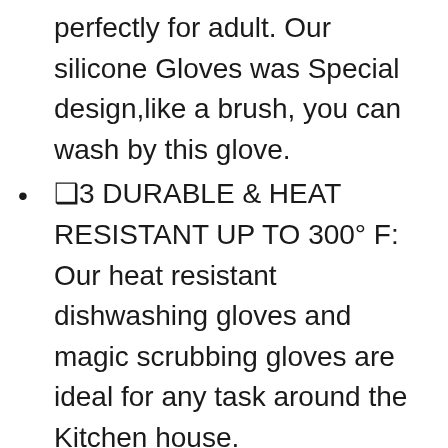perfectly for adult. Our silicone Gloves was Special design,like a brush, you can wash by this glove.
❑3 DURABLE & HEAT RESISTANT UP TO 300° F: Our heat resistant dishwashing gloves and magic scrubbing gloves are ideal for any task around the Kitchen house.
❑4 NOTICE: This glove can not hold your dish 100%,Please hold it carefully when you wash your dish. Specially wish Dishwashing liquid
❑5 Wish you hav a nice a day. If you have any question, please feel free